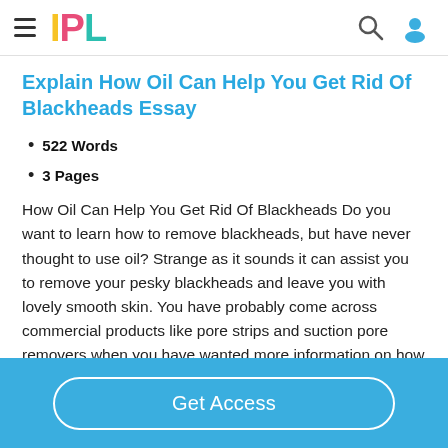IPL
Explain How Oil Can Help You Get Rid Of Blackheads Essay
522 Words
3 Pages
How Oil Can Help You Get Rid Of Blackheads Do you want to learn how to remove blackheads, but have never thought to use oil? Strange as it sounds it can assist you to remove your pesky blackheads and leave you with lovely smooth skin. You have probably come across commercial products like pore strips and suction pore removers when you have wanted more information on how to remove blackheads....
Get Access